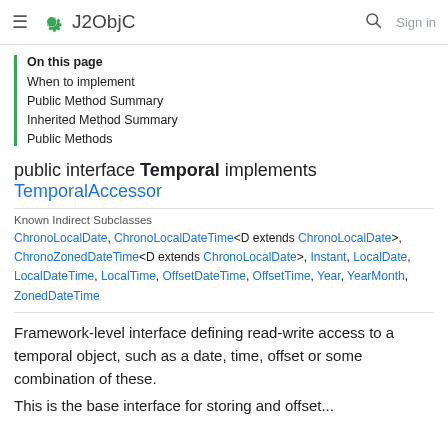J2ObjC
On this page
When to implement
Public Method Summary
Inherited Method Summary
Public Methods
public interface Temporal implements TemporalAccessor
Known Indirect Subclasses
ChronoLocalDate, ChronoLocalDateTime<D extends ChronoLocalDate>, ChronoZonedDateTime<D extends ChronoLocalDate>, Instant, LocalDate, LocalDateTime, LocalTime, OffsetDateTime, OffsetTime, Year, YearMonth, ZonedDateTime
Framework-level interface defining read-write access to a temporal object, such as a date, time, offset or some combination of these.
This is the base interface for storing and offsetting...